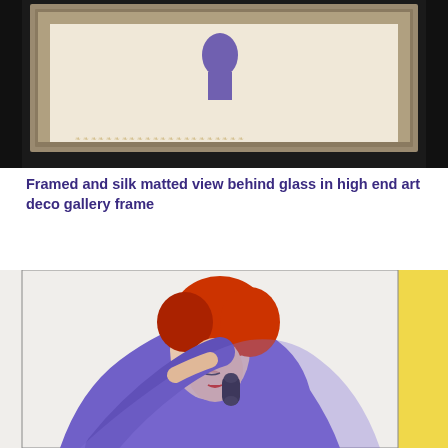[Figure (photo): Framed artwork in a black art deco gallery frame with decorative silver inner mat, showing a partial view of a woman in purple dress. The bottom portion of the frame and its ornate silver border are visible.]
Framed and silk matted view behind glass in high end art deco gallery frame
[Figure (photo): Close-up illustration of a glamorous red-haired woman in a sheer purple robe or garment, holding a black telephone receiver to her ear with her eyes downcast. Vintage pin-up style artwork with a yellow stripe visible on the right edge.]